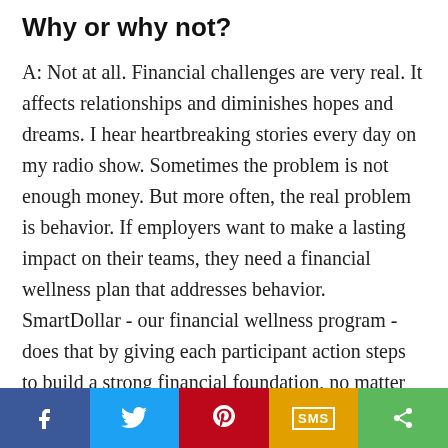Why or why not?
A: Not at all. Financial challenges are very real. It affects relationships and diminishes hopes and dreams. I hear heartbreaking stories every day on my radio show. Sometimes the problem is not enough money. But more often, the real problem is behavior. If employers want to make a lasting impact on their teams, they need a financial wellness plan that addresses behavior. SmartDollar - our financial wellness program - does that by giving each participant action steps to build a strong financial foundation, no matter where they are today. If they follow the plan, get on a written budget and take control of their money, they'll get out of debt, give and invest at
[Figure (infographic): Social media sharing bar with five buttons: Facebook (dark blue), Twitter (light blue), Pinterest (red), SMS (yellow/gold), and Share (green), each with the respective icon or label.]